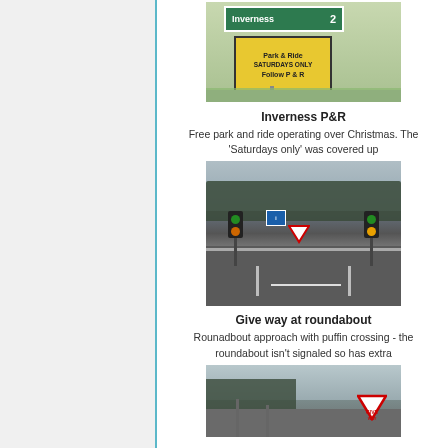[Figure (photo): Road sign showing 'Inverness 2' green direction sign and yellow 'Park & Ride SATURDAYS ONLY Follow P&R' sign on grass verge]
Inverness P&R
Free park and ride operating over Christmas. The 'Saturdays only' was covered up
[Figure (photo): Roundabout approach road with puffin crossing traffic lights, give way triangle sign, and road markings at dusk]
Give way at roundabout
Rounadbout approach with puffin crossing - the roundabout isn't signaled so has extra
[Figure (photo): Road approach to roundabout with give way signs visible]